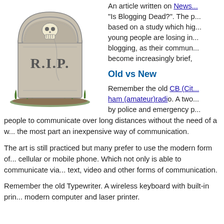[Figure (illustration): A gravestone illustration with a skull at the top and the text R.I.P. inscribed on it, with grass at the base.]
An article written on News... "Is Blogging Dead?". The p... based on a study which hig... young people are losing in... blogging, as their commun... become increasingly brief,
Old vs New
Remember the old CB (Cit... ham (amateur)radio. A two... by police and emergency p...
people to communicate over long distances without the need of a w... the most part an inexpensive way of communication.
The art is still practiced but many prefer to use the modern form of... cellular or mobile phone. Which not only is able to communicate via... text, video and other forms of communication.
Remember the old Typewriter. A wireless keyboard with built-in prin... modern computer and laser printer.